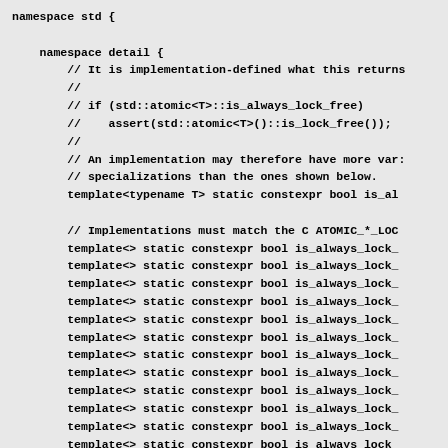[Figure (screenshot): C++ source code snippet showing namespace detail block with comments about implementation-defined behavior for std::atomic lock-free specializations, followed by multiple template<> static constexpr bool is_always_lock_free declarations.]